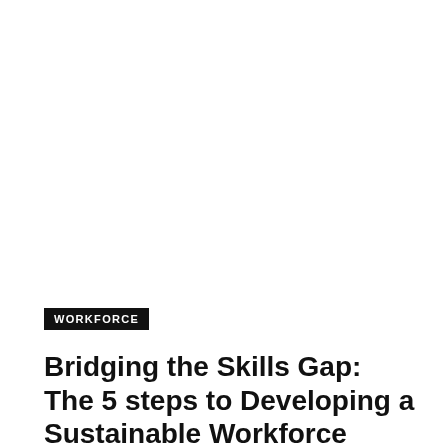[Figure (photo): Large white/blank image area occupying the top portion of the page]
WORKFORCE
Bridging the Skills Gap: The 5 steps to Developing a Sustainable Workforce